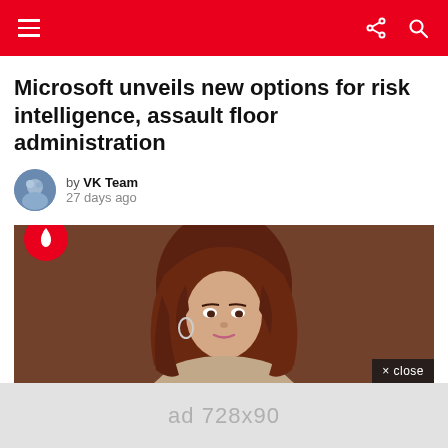Navigation bar with hamburger menu, share icon, and search icon
Microsoft unveils new options for risk intelligence, assault floor administration
by VK Team
27 days ago
[Figure (photo): Photo of a woman with reddish-brown hair against a brown background, with a red flame badge overlay and a close button]
ad 728x90